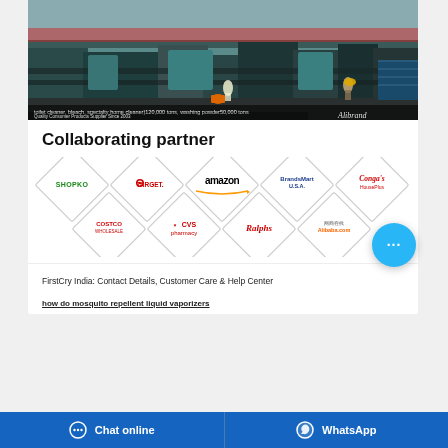[Figure (photo): Factory interior showing industrial manufacturing equipment, workers in a large warehouse with text overlay: 'toilet cleaner, bleach, specialty home cleaner 120,000 tons, washing powder 50,000 tons' and 'Quality Consumer Products Supplier Since 2003']
Collaborating partner
[Figure (logo): Partner logos in diamond/rhombus shapes: Shopko, Target, amazon, BrandsMart U.S.A., Congas HousePlus, Costco Wholesale, CVS pharmacy, Ralphs, Alibaba.com]
FirstCry India: Contact Details, Customer Care & Help Center
how do mosquito repellent liquid vaporizers
Chat online   WhatsApp